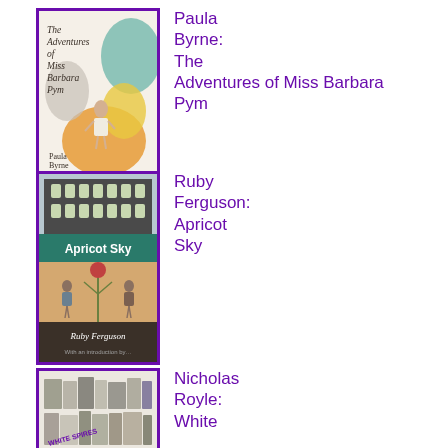[Figure (illustration): Book cover of 'The Adventures of Miss Barbara Pym' by Paula Byrne, with colorful abstract shapes and a woman figure]
Paula Byrne: The Adventures of Miss Barbara Pym
[Figure (illustration): Book cover of 'Apricot Sky' by Ruby Ferguson, showing a Scottish castle and a thistle illustration]
Ruby Ferguson: Apricot Sky
[Figure (illustration): Book cover of 'White Spires' by Nicholas Royle, showing rows of books/spines]
Nicholas Royle: White